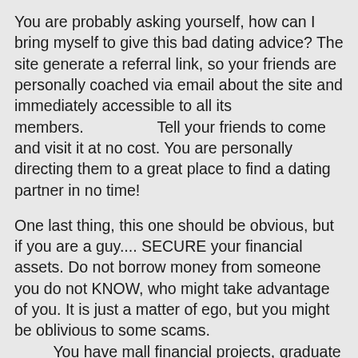You are probably asking yourself, how can I bring myself to give this bad dating advice? The site generate a referral link, so your friends are personally coached via email about the site and immediately accessible to all its members.               Tell your friends to come and visit it at no cost. You are personally directing them to a great place to find a dating partner in no time!
One last thing, this one should be obvious, but if you are a guy.... SECURE your financial assets. Do not borrow money from someone you do not KNOW, who might take advantage of you. It is just a matter of ego, but you might be oblivious to some scams.
        You have mall financial projects, graduate students whose parents share the same credit card as you, friends, or relatives and she just might be the girl you are dating for the right reasons WANT to pay you back in kind.
A good rule is of 100% disclosure prior to any physical